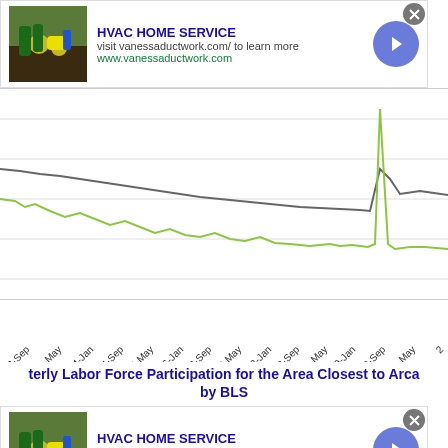[Figure (screenshot): HVAC Home Service advertisement banner with image of person gardening, title, URL, arrow button, and close button]
[Figure (line-chart): Line chart showing two series (gray and green) with x-axis dates from Jan to 21-May, with a sharp spike near 20-Sep]
[Figure (screenshot): HVAC Home Service advertisement banner (second instance) with image of person gardening, title, URL, arrow button, and close button]